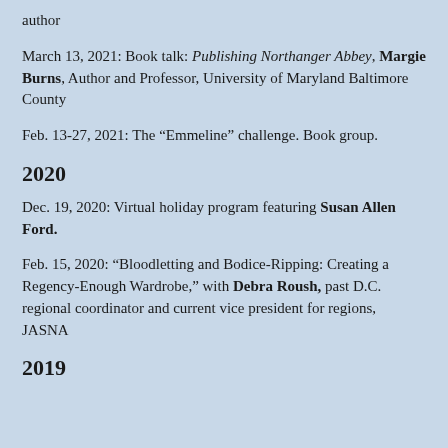author
March 13, 2021: Book talk: Publishing Northanger Abbey, Margie Burns, Author and Professor, University of Maryland Baltimore County
Feb. 13-27, 2021: The “Emmeline” challenge. Book group.
2020
Dec. 19, 2020: Virtual holiday program featuring Susan Allen Ford.
Feb. 15, 2020: “Bloodletting and Bodice-Ripping: Creating a Regency-Enough Wardrobe,” with Debra Roush, past D.C. regional coordinator and current vice president for regions, JASNA
2019